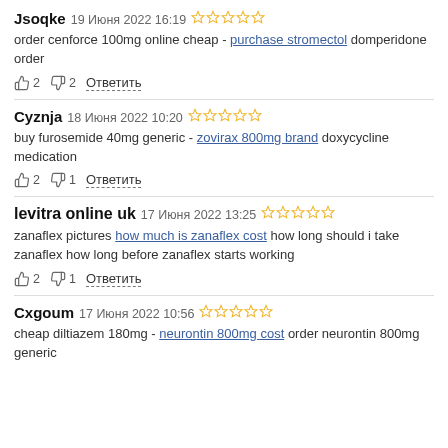Jsoqke 19 Июня 2022 16:19 ☆☆☆☆☆
order cenforce 100mg online cheap - purchase stromectol domperidone order
👍2 👎2 Ответить
Cyznja 18 Июня 2022 10:20 ☆☆☆☆☆
buy furosemide 40mg generic - zovirax 800mg brand doxycycline medication
👍2 👎1 Ответить
levitra online uk 17 Июня 2022 13:25 ☆☆☆☆☆
zanaflex pictures how much is zanaflex cost how long should i take zanaflex how long before zanaflex starts working
👍2 👎1 Ответить
Cxgoum 17 Июня 2022 10:56 ☆☆☆☆☆
cheap diltiazem 180mg - neurontin 800mg cost order neurontin 800mg generic